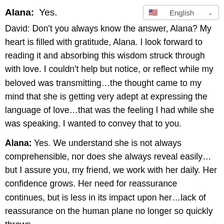Alana: Yes.
[Figure (other): Language selector UI element showing US flag and 'English' with dropdown chevron]
David: Don't you always know the answer, Alana? My heart is filled with gratitude, Alana. I look forward to reading it and absorbing this wisdom struck through with love. I couldn't help but notice, or reflect while my beloved was transmitting…the thought came to my mind that she is getting very adept at expressing the language of love…that was the feeling I had while she was speaking. I wanted to convey that to you.
Alana: Yes. We understand she is not always comprehensible, nor does she always reveal easily…but I assure you, my friend, we work with her daily. Her confidence grows. Her need for reassurance continues, but is less in its impact upon her…lack of reassurance on the human plane no longer so quickly throws